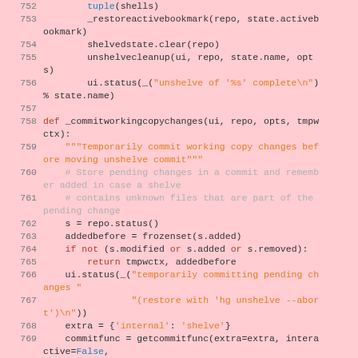[Figure (screenshot): Python source code listing, lines 752-769, with pink/red background highlighting, showing functions _restoreactivebookmark, shelvedstate.clear, unshelvecleanup, ui.status calls, and def _commitworkingcopychanges function definition with docstring and body.]